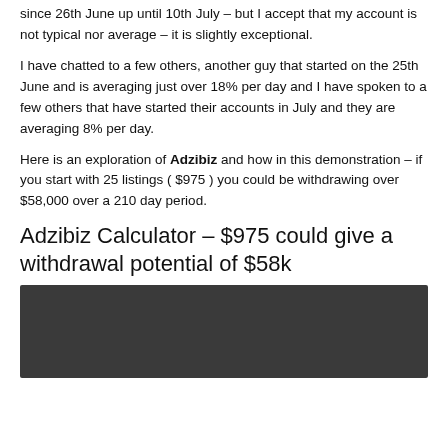My account is still earning at a rate in excess of 30% per day since 26th June up until 10th July – but I accept that my account is not typical nor average – it is slightly exceptional.
I have chatted to a few others, another guy that started on the 25th June and is averaging just over 18% per day and I have spoken to a few others that have started their accounts in July and they are averaging 8% per day.
Here is an exploration of Adzibiz and how in this demonstration – if you start with 25 listings ( $975 ) you could be withdrawing over $58,000 over a 210 day period.
Adzibiz Calculator – $975 could give a withdrawal potential of $58k
[Figure (screenshot): Dark screenshot/image block at bottom of page, appears to be a calculator or spreadsheet interface]